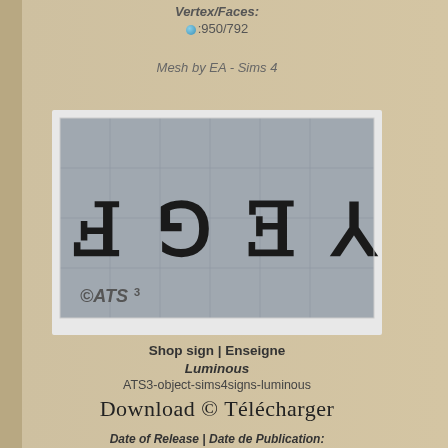Vertex/Faces: :950/792
Mesh by EA - Sims 4
[Figure (photo): Shop sign texture preview showing mirrored/reversed characters on a grey tiled grid background, with ATS3 watermark logo in the lower left corner]
Shop sign | Enseigne Luminous ATS3-object-sims4signs-luminous
Download @ Télécharger
Date of Release | Date de Publication: